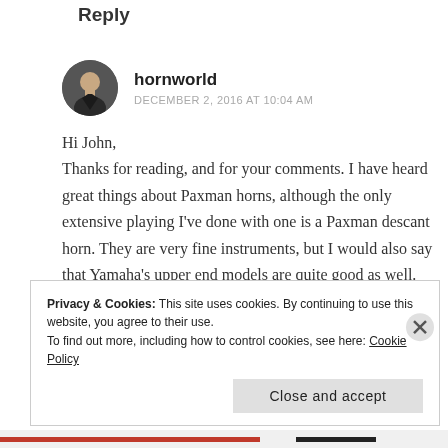Reply
[Figure (illustration): Circular avatar photo of a person (hornworld) with dark hair wearing a dark jacket, shown from shoulders up.]
hornworld
DECEMBER 2, 2016 AT 10:04 AM
Hi John,
Thanks for reading, and for your comments. I have heard great things about Paxman horns, although the only extensive playing I've done with one is a Paxman descant horn. They are very fine instruments, but I would also say that Yamaha's upper end models are quite good as well.
Privacy & Cookies: This site uses cookies. By continuing to use this website, you agree to their use.
To find out more, including how to control cookies, see here: Cookie Policy
Close and accept